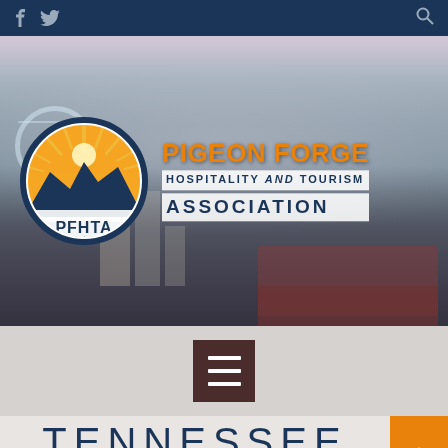Top navigation bar with social icons (Facebook, Twitter) and search icon on dark navy background
[Figure (screenshot): PFHTA website screenshot showing hero banner with cityscape of Pigeon Forge Tennessee at dusk, with PFHTA circular logo and Pigeon Forge Hospitality and Tourism Association text]
[Figure (logo): PFHTA circular logo with sunburst, mountain silhouette, and stars. Text reads PFHTA.]
PIGEON FORGE
HOSPITALITY AND TOURISM
ASSOCIATION
[Figure (other): Hamburger menu button (three horizontal bars) on dark brown square background]
TENNESSEE
VALLEY